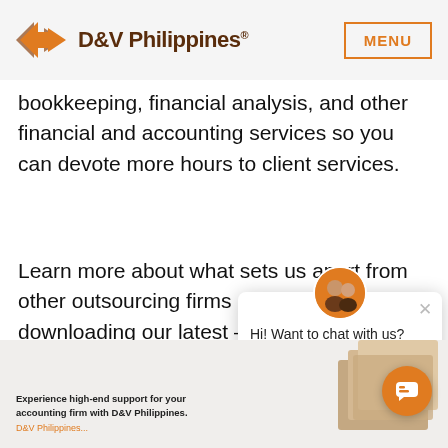D&V Philippines® MENU
bookkeeping, financial analysis, and other financial and accounting services so you can devote more hours to client services.
Learn more about what sets us apart from other outsourcing firms and find out more by downloading our latest — Talents: D&V Philippines... Accounting Firms, today.
[Figure (screenshot): Chat popup widget with avatar showing people, close button X, and message: Hi! Want to chat with us? We're here to help you find the information you need.]
[Figure (screenshot): Orange circular chat button at bottom right]
Experience high-end support for your accounting firm with D&V Philippines.